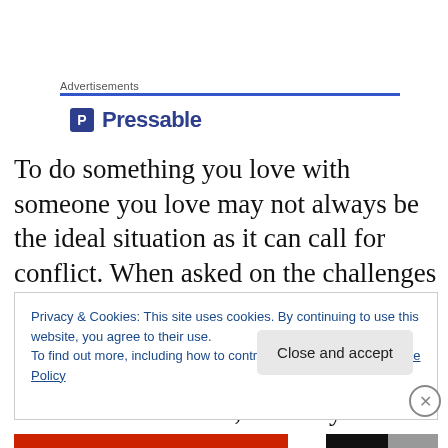Advertisements
[Figure (logo): Pressable logo with blue square P icon and bold blue text 'Pressable']
To do something you love with someone you love may not always be the ideal situation as it can call for conflict. When asked on the challenges they face working together as music partners, the husband-and-wife musical group shared that though conflict is inevitable, it is only
Privacy & Cookies: This site uses cookies. By continuing to use this website, you agree to their use.
To find out more, including how to control cookies, see here: Cookie Policy